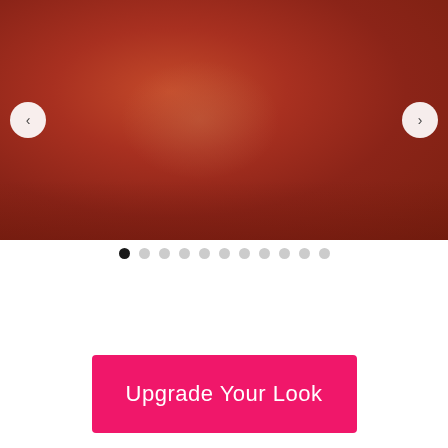[Figure (photo): Carousel image placeholder with dark red/maroon gradient background, suggesting a studio or lifestyle photo setting. Navigation arrows on left and right sides.]
[Figure (infographic): Carousel pagination dots: 11 dots total, first dot is filled black (active), remaining 10 are light gray.]
Upgrade Your Look